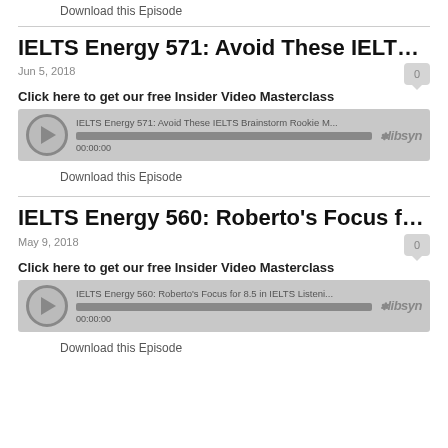Download this Episode
IELTS Energy 571: Avoid These IELTS Brain...
Jun 5, 2018
Click here to get our free Insider Video Masterclass
[Figure (screenshot): Libsyn audio player for IELTS Energy 571: Avoid These IELTS Brainstorm Rookie M... showing 00:00:00]
Download this Episode
IELTS Energy 560: Roberto's Focus for 8.5 i...
May 9, 2018
Click here to get our free Insider Video Masterclass
[Figure (screenshot): Libsyn audio player for IELTS Energy 560: Roberto's Focus for 8.5 in IELTS Listeni... showing 00:00:00]
Download this Episode